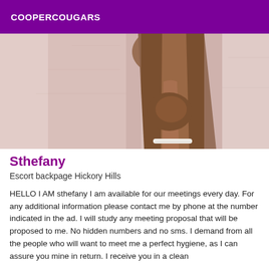COOPERCOUGARS
[Figure (photo): Close-up photo of a person's legs against a light pink/white wall background, wearing a white ankle strap]
Sthefany
Escort backpage Hickory Hills
HELLO I AM sthefany I am available for our meetings every day. For any additional information please contact me by phone at the number indicated in the ad. I will study any meeting proposal that will be proposed to me. No hidden numbers and no sms. I demand from all the people who will want to meet me a perfect hygiene, as I can assure you mine in return. I receive you in a clean